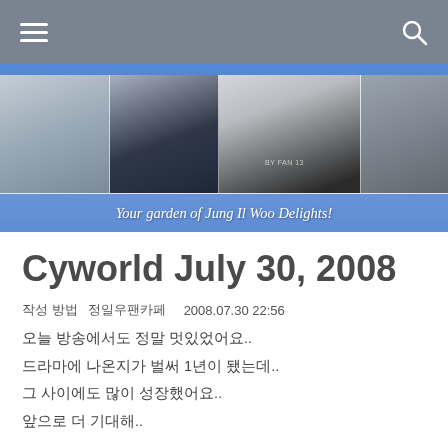Navigation bar with hamburger menu and search icon
[Figure (photo): Website banner with photos of Jung Il Woo in various poses, with text 'Your garden of Jung Il Woo Delights!' on blue overlay bar. Sky background with clouds.]
Cyworld July 30, 2008
작성자  정일우팬카페  2008.07.30 22:56
오늘 방송에서도 정말 멋있었어요..
드라마에 나온지가 벌써 1년이 됐는데..
그 사이에도 많이 성장했어요..
앞으로 더 기대해..